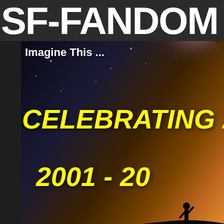SF-FANDOM F
[Figure (photo): Banner image with starry night sky, silhouette of a person, text 'Imagine This ...' in white, 'CELEBRATING 2' in yellow italic, '2001 - 20' in yellow italic. Space/nebula colors of orange, pink, purple.]
Hello There, Guest! 🔑 Login Register →
Science Fiction and Fantasy Community Forums › Science Fiction and Fantasy En
What would you take off Orlando first?
What would you take off Orlando first?